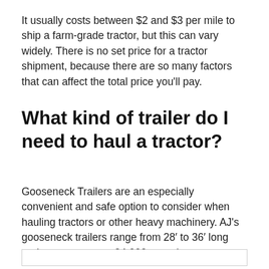It usually costs between $2 and $3 per mile to ship a farm-grade tractor, but this can vary widely. There is no set price for a tractor shipment, because there are so many factors that can affect the total price you'll pay.
What kind of trailer do I need to haul a tractor?
Gooseneck Trailers are an especially convenient and safe option to consider when hauling tractors or other heavy machinery. AJ's gooseneck trailers range from 28′ to 36′ long and can carry up to 24,000 pounds.
[Figure (other): Empty white box with border outline at bottom of page]